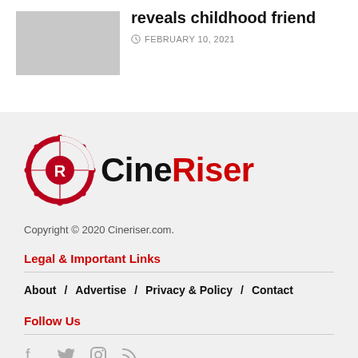reveals childhood friend
FEBRUARY 10, 2021
[Figure (logo): CineRiser logo with film reel icon and stylized text]
Copyright © 2020 Cineriser.com.
Legal & Important Links
About / Advertise / Privacy & Policy / Contact
Follow Us
[Figure (illustration): Social media icons: Facebook, Twitter, Instagram, RSS]